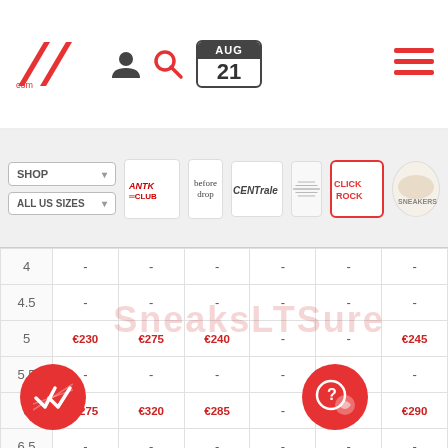[Figure (logo): LT logo in red]
[Figure (screenshot): Navigation icons: person, search, calendar showing AUG 21, hamburger menu]
| Size | ANTK Club | before drop | CENTrale | (store4) | Click Rock | Sneakers |
| --- | --- | --- | --- | --- | --- | --- |
| 4 | - | - | - | - | - | - |
| 4.5 | - | - | - | - | - | - |
| 5 | €230 | €275 | €240 | - | - | €245 |
| 5.5 | - | - | - | - | - | - |
| 6 | €275 | €320 | €285 | - | - | €290 |
| 6.5 | - | - | - | - | - | - |
| 7 | - | - | - | - | - | - |
| 8 | €200 | €245 | €210 | - | - | €215 |
| 8.5 | - | - | - | - | - | - |
| 9 | €220 | €265 | €230 | €220 | - | €235 |